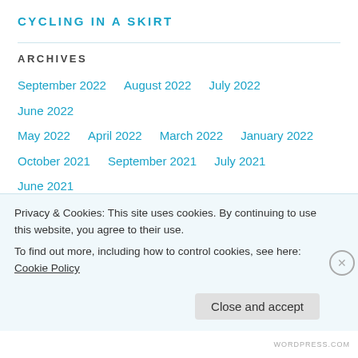CYCLING IN A SKIRT
ARCHIVES
September 2022
August 2022
July 2022
June 2022
May 2022
April 2022
March 2022
January 2022
October 2021
September 2021
July 2021
June 2021
April 2021
February 2021
January 2021
December 2020
November 2020
May 2020
January 2020
December 2019
October 2019  September 2019  August 2019  July 2019
Privacy & Cookies: This site uses cookies. By continuing to use this website, you agree to their use.
To find out more, including how to control cookies, see here: Cookie Policy
Close and accept
WORDPRESS.COM